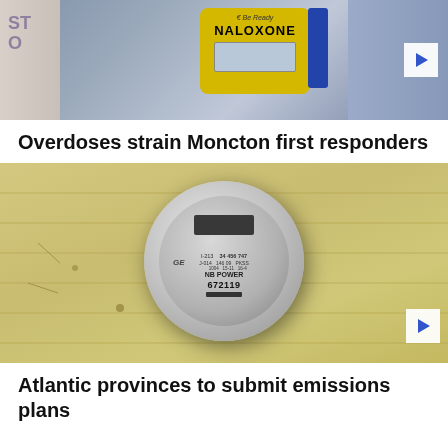[Figure (photo): Photo of a Naloxone kit box mounted on a wall near a door, with a blue sidebar panel. There is a play button overlay on the right side.]
Overdoses strain Moncton first responders
[Figure (photo): Close-up photo of an NB Power electric meter (number 672119) mounted on a yellow building exterior siding wall. There is a play button overlay on the right side.]
Atlantic provinces to submit emissions plans